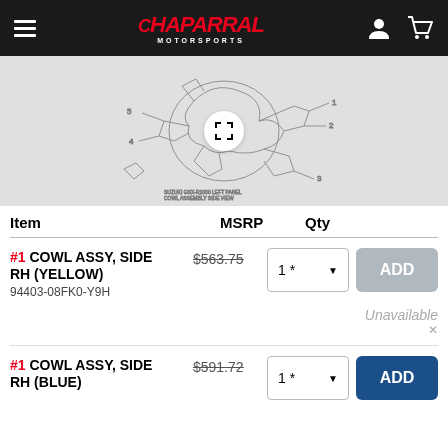Chaparral Motorsports
[Figure (schematic): Technical parts diagram of motorcycle cowl assembly with expand/zoom button overlay]
| Item | MSRP | Qty |
| --- | --- | --- |
| #1 COWL ASSY, SIDE RH (YELLOW)
94403-08FK0-Y9H | $563.75 | 1 * [ADD - gray/unavailable] |
|  |  | Unavailable |
| #1 COWL ASSY, SIDE RH (BLUE) | $591.72 | 1 * [ADD - blue] |